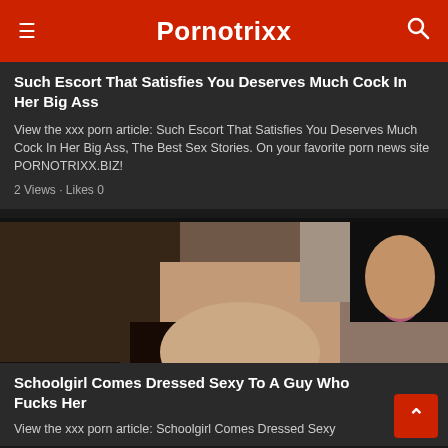Pornotrixx
Such Escort That Satisfies You Deserves Much Cock In Her Big Ass
View the xxx porn article: Such Escort That Satisfies You Deserves Much Cock In Her Big Ass, The Best Sex Stories. On your favorite porn news site PORNOTRIXX.BIZ!
2 Views · Likes 0
[Figure (photo): Adult content photo showing two people in a sexual act]
Schoolgirl Comes Dressed Sexy To A Guy Who Fucks Her
View the xxx porn article: Schoolgirl Comes Dressed Sexy